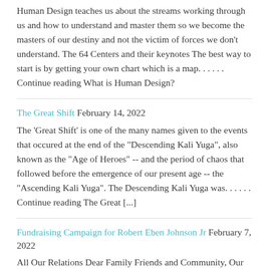Human Design teaches us about the streams working through us and how to understand and master them so we become the masters of our destiny and not the victim of forces we don't understand. The 64 Centers and their keynotes The best way to start is by getting your own chart which is a map. . . . . . Continue reading What is Human Design?
The Great Shift February 14, 2022
The 'Great Shift' is one of the many names given to the events that occured at the end of the "Descending Kali Yuga", also known as the "Age of Heroes" -- and the period of chaos that followed before the emergence of our present age -- the "Ascending Kali Yuga". The Descending Kali Yuga was. . . . . . Continue reading The Great [...]
Fundraising Campaign for Robert Eben Johnson Jr February 7, 2022
All Our Relations Dear Family Friends and Community, Our